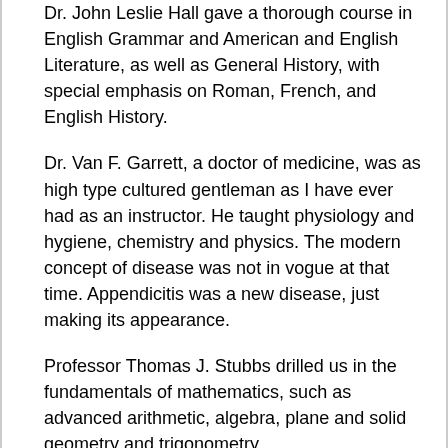Dr. John Leslie Hall gave a thorough course in English Grammar and American and English Literature, as well as General History, with special emphasis on Roman, French, and English History.
Dr. Van F. Garrett, a doctor of medicine, was as high type cultured gentleman as I have ever had as an instructor. He taught physiology and hygiene, chemistry and physics. The modern concept of disease was not in vogue at that time. Appendicitis was a new disease, just making its appearance.
Professor Thomas J. Stubbs drilled us in the fundamentals of mathematics, such as advanced arithmetic, algebra, plane and solid geometry and trigonometry.
We also had courses in Latin and German under Drs. Wharton and Charles Edward Bishop, who held his Ph.D. from Laipsig University, Germany.
Professor Hugh Byrd had charge of the Department of Education, School Management and Psychology, which was